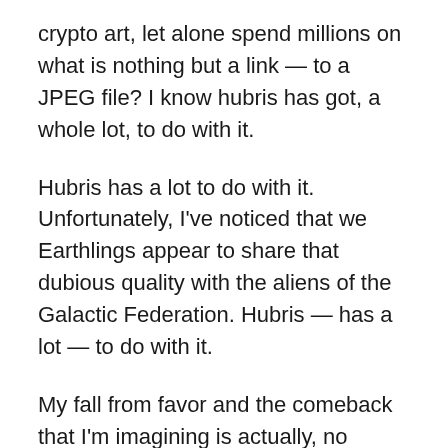crypto art, let alone spend millions on what is nothing but a link — to a JPEG file? I know hubris has got, a whole lot, to do with it.
Hubris has a lot to do with it. Unfortunately, I've noticed that we Earthlings appear to share that dubious quality with the aliens of the Galactic Federation. Hubris — has a lot — to do with it.
My fall from favor and the comeback that I'm imagining is actually, no coincidence. And it's no coincidence that, in the end, the salvation of humanity may be (if I'm nuts) in, imaginations.
It's no coincidence; the seeming timeliness of what's happening, my fall from favor and the comeback I imagine. It's no coincidence I'm imagining, all we've got left, is my